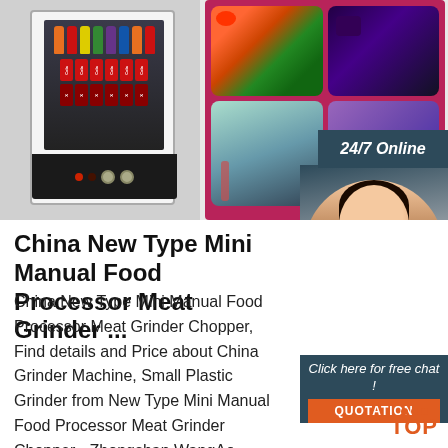[Figure (photo): E-commerce product page showing a beverage refrigerator/vending machine on the left, a collage of food and drink images on the right with a purple/magenta background, a 24/7 Online banner, a customer service representative with headset, a 'Click here for free chat!' prompt with QUOTATION button, and a TOP scroll button.]
China New Type Mini Manual Food Processor Meat Grinder ...
China New Type Mini Manual Food Processor Meat Grinder Chopper, Find details and Price about China Grinder Machine, Small Plastic Grinder from New Type Mini Manual Food Processor Meat Grinder Chopper - Zhongshan WangAo Mould Product Co., Ltd.